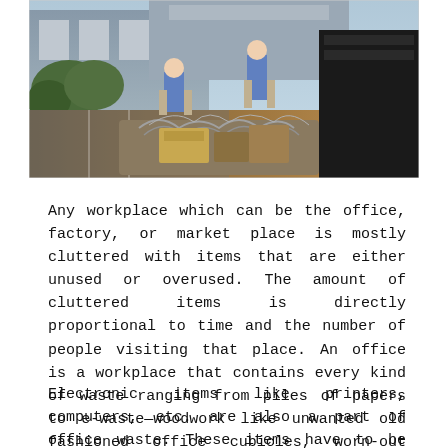[Figure (photo): Photograph of workers unloading cluttered office waste and electronic scrap in a parking lot area. Items visible include tangled wires, old equipment, and various discarded office materials. Workers in blue shirts are seen handling the debris near a building.]
Any workplace which can be the office, factory, or market place is mostly cluttered with items that are either unused or overused. The amount of cluttered items is directly proportional to time and the number of people visiting that place. An office is a workplace that contains every kind of waste ranging from piles of papers to e-waste—woodwork like unwanted old fashioned office cubicles, worn-out desks, chairs, etc.
Electronic items like printers, computers, etc. are also a part of office waste. These items have to be recycled as e-waste